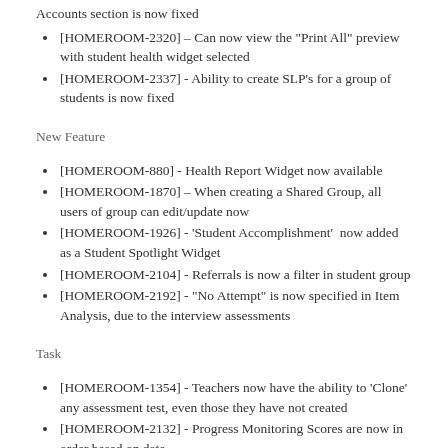Accounts section is now fixed
[HOMEROOM-2320] – Can now view the "Print All" preview with student health widget selected
[HOMEROOM-2337] - Ability to create SLP's for a group of students is now fixed
New Feature
[HOMEROOM-880] - Health Report Widget now available
[HOMEROOM-1870] – When creating a Shared Group, all users of group can edit/update now
[HOMEROOM-1926] - 'Student Accomplishment'  now added as a Student Spotlight Widget
[HOMEROOM-2104] - Referrals is now a filter in student group
[HOMEROOM-2192] - "No Attempt" is now specified in Item Analysis, due to the interview assessments
Task
[HOMEROOM-1354] - Teachers now have the ability to 'Clone' any assessment test, even those they have not created
[HOMEROOM-2132] - Progress Monitoring Scores are now in order based on date
[HOMEROOM-2177] - Incorrect attendance summary in print